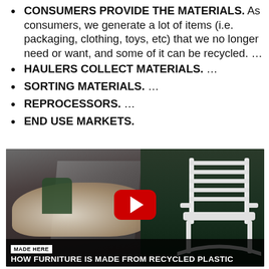CONSUMERS PROVIDE THE MATERIALS. As consumers, we generate a lot of items (i.e. packaging, clothing, toys, etc) that we no longer need or want, and some of it can be recycled. …
HAULERS COLLECT MATERIALS. …
SORTING MATERIALS. …
REPROCESSORS. …
END USE MARKETS.
[Figure (photo): YouTube video thumbnail showing a worker sorting recycled plastic materials in a warehouse, with a white rocking chair on the right side against a green hedge background. A red YouTube play button is overlaid in the center. Bottom overlay reads 'MADE HERE' and 'HOW FURNITURE IS MADE FROM RECYCLED PLASTIC'.]